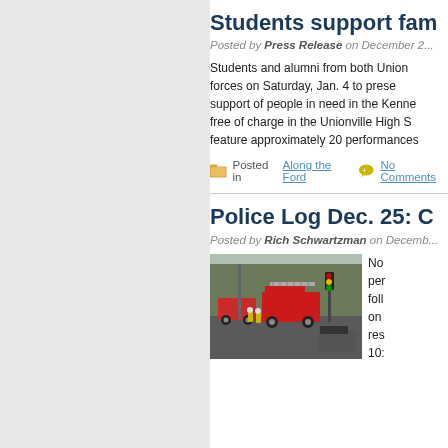Students support fam...
Posted by Press Release on December 2...
Students and alumni from both Union... forces on Saturday, Jan. 4 to prese... support of people in need in the Kenne... free of charge in the Unionville High S... feature approximately 20 performances...
Posted in Along the Ford   No Comments...
Police Log Dec. 25: C...
Posted by Rich Schwartzman on Decemb...
[Figure (photo): Street scene with fire truck and emergency vehicles at an intersection, firefighters visible]
No... per... follo... on... res... 10:...